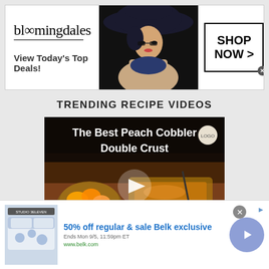[Figure (screenshot): Bloomingdales advertisement banner: logo on left, fashion model with hat in center, 'SHOP NOW >' button on right, tagline 'View Today's Top Deals!']
TRENDING RECIPE VIDEOS
[Figure (screenshot): Video thumbnail for 'The Best Peach Cobbler Double Crust' showing a dish of peach cobbler with ice cream, play button overlay in center]
[Figure (screenshot): Belk advertisement banner: bedding product image on left, '50% off regular & sale Belk exclusive' text, 'Ends Mon 9/5, 11:59pm ET', 'www.belk.com', blue circle arrow button on right]